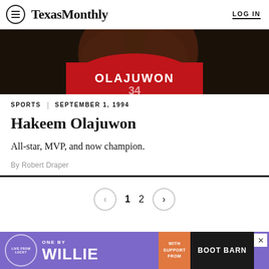Texas Monthly | LOG IN
[Figure (photo): Basketball player wearing a red Olajuwon jersey, cropped to show jersey text and number]
SPORTS | SEPTEMBER 1, 1994
Hakeem Olajuwon
All-star, MVP, and now champion.
By Robert Draper
[Figure (infographic): Pagination navigation showing back arrow, page 1, page 2, forward arrow]
[Figure (infographic): Advertisement banner: ONE BY WILLIE - WITH SUPPORT FROM - BOOT BARN]